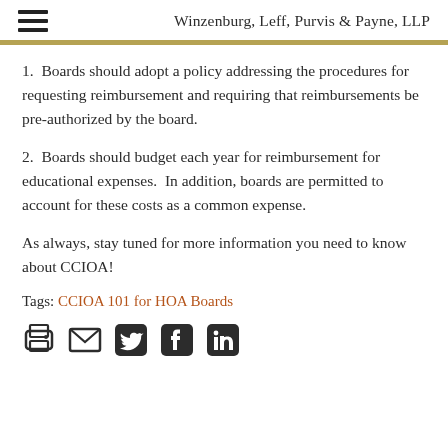Winzenburg, Leff, Purvis & Payne, LLP
1.  Boards should adopt a policy addressing the procedures for requesting reimbursement and requiring that reimbursements be pre-authorized by the board.
2.  Boards should budget each year for reimbursement for educational expenses.  In addition, boards are permitted to account for these costs as a common expense.
As always, stay tuned for more information you need to know about CCIOA!
Tags: CCIOA 101 for HOA Boards
[Figure (infographic): Social sharing icons: print, email, Twitter, Facebook, LinkedIn]